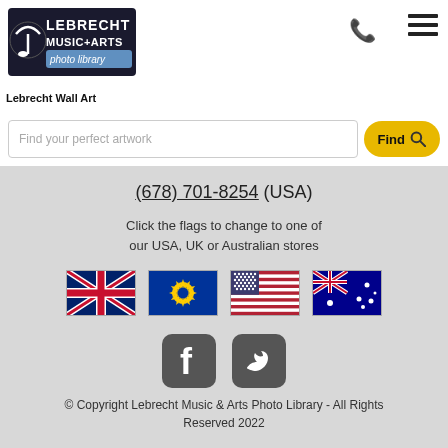[Figure (logo): Lebrecht Music+Arts photo library logo with musical note graphic]
Lebrecht Wall Art
[Figure (screenshot): Search bar with placeholder text 'Find your perfect artwork' and a yellow Find button with magnifying glass icon. Faded orange REVIEWS text in background.]
(678) 701-8254 (USA)
Click the flags to change to one of our USA, UK or Australian stores
[Figure (illustration): Four country flags: UK (Union Jack), EU (blue with stars), USA (stars and stripes), Australia]
[Figure (illustration): Facebook and Twitter social media icon buttons (dark rounded square icons)]
© Copyright Lebrecht Music & Arts Photo Library - All Rights Reserved 2022